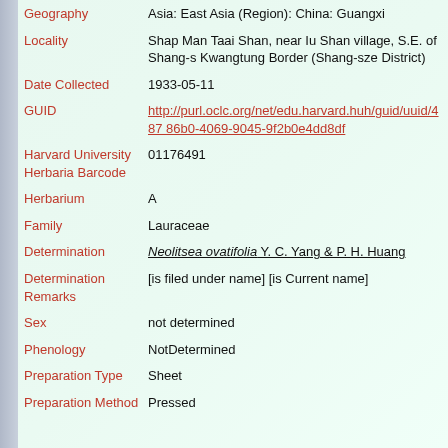| Field | Value |
| --- | --- |
| Geography | Asia: East Asia (Region): China: Guangxi |
| Locality | Shap Man Taai Shan, near Iu Shan village, S.E. of Shang-s Kwangtung Border (Shang-sze District) |
| Date Collected | 1933-05-11 |
| GUID | http://purl.oclc.org/net/edu.harvard.huh/guid/uuid/487 86b0-4069-9045-9f2b0e4dd8df |
| Harvard University Herbaria Barcode | 01176491 |
| Herbarium | A |
| Family | Lauraceae |
| Determination | Neolitsea ovatifolia Y. C. Yang & P. H. Huang |
| Determination Remarks | [is filed under name] [is Current name] |
| Sex | not determined |
| Phenology | NotDetermined |
| Preparation Type | Sheet |
| Preparation Method | Pressed |